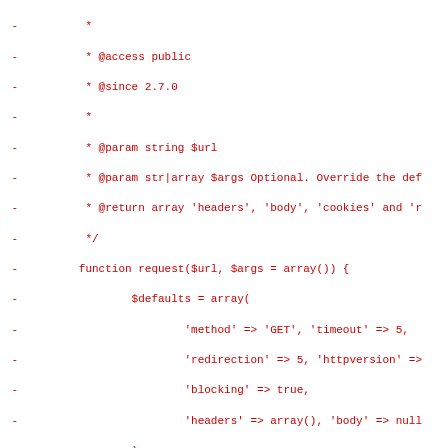[Figure (screenshot): Diff view of PHP source code showing removed lines (marked with '-') in red monospace font. The code shows a PHPDoc comment block and a function 'request' with parameters $url and $args, including array defaults, wp_parse_args call, header handling for User-Agent, cookie construction, curl_init, and proxy support comment.]